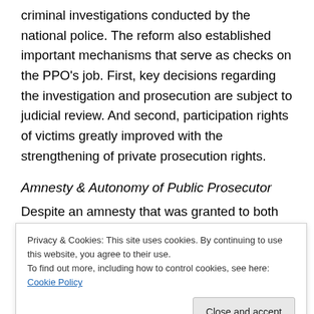criminal investigations conducted by the national police. The reform also established important mechanisms that serve as checks on the PPO's job. First, key decisions regarding the investigation and prosecution are subject to judicial review. And second, participation rights of victims greatly improved with the strengthening of private prosecution rights.
Amnesty & Autonomy of Public Prosecutor
Despite an amnesty that was granted to both military personnel and guerrilla groups as part of the peace
Privacy & Cookies: This site uses cookies. By continuing to use this website, you agree to their use.
To find out more, including how to control cookies, see here: Cookie Policy
against humanity. But also because all criminal cases for